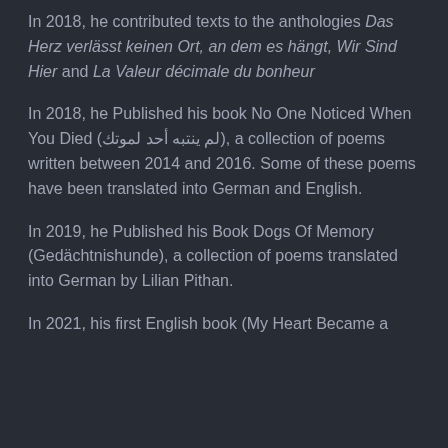In 2018, he contributed texts to the anthologies Das Herz verlässt keinen Ort, an dem es hängt, Wir Sind Hier and La Valeur décimale du bonheur
In 2018, he Published his book No One Noticed When You Died (لم ينتبه أحد لموتك), a collection of poems written between 2014 and 2016. Some of these poems have been translated into German and English.
In 2019, he Published his Book Dogs Of Memory (Gedächtnishunde), a collection of poems translated into German by Lilian Pithan.
In 2021, his first English book (My Heart Became a